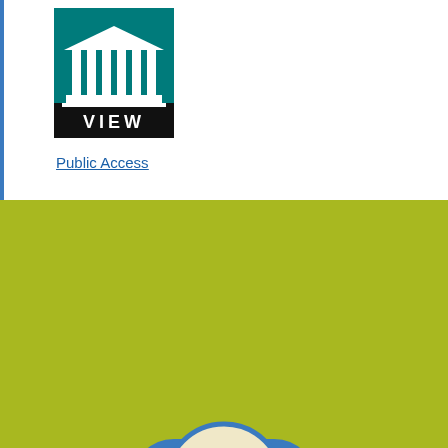[Figure (logo): Courthouse VIEW logo — teal square with white pillared building icon and 'VIEW' text in black on bottom]
Public Access
[Figure (logo): Miami County Ohio logo — circular badge with 'HOME GROWN GREAT' text, blue border, dark red banner reading 'MIAMI COUNTY', and '-OHIO-' below on olive/yellow-green background]
Common Pleas Court
Common Pleas